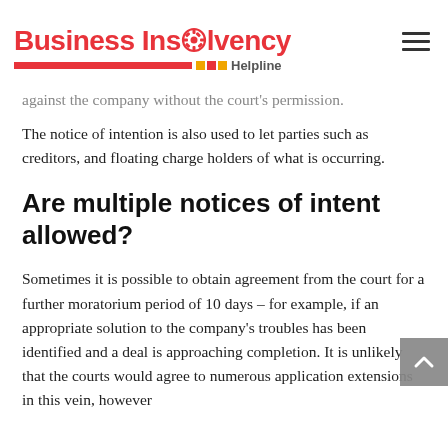Business Insolvency Helpline
against the company without the court's permission.
The notice of intention is also used to let parties such as creditors, and floating charge holders of what is occurring.
Are multiple notices of intent allowed?
Sometimes it is possible to obtain agreement from the court for a further moratorium period of 10 days – for example, if an appropriate solution to the company's troubles has been identified and a deal is approaching completion. It is unlikely that the courts would agree to numerous application extensions in this vein, however